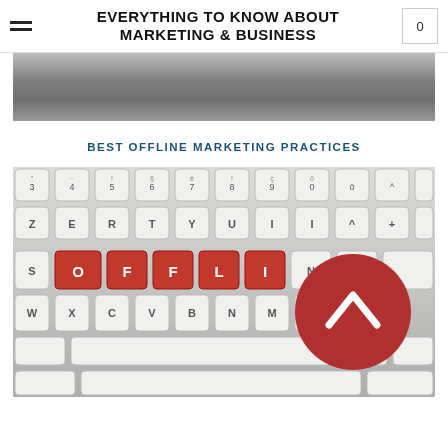EVERYTHING TO KNOW ABOUT MARKETING & BUSINESS
[Figure (photo): Cropped photo of a car on a road, partially visible at top of page]
BEST OFFLINE MARKETING PRACTICES
[Figure (photo): Close-up photo of a keyboard with red keys spelling OFFLINE, and a red circular back-to-top button overlay]